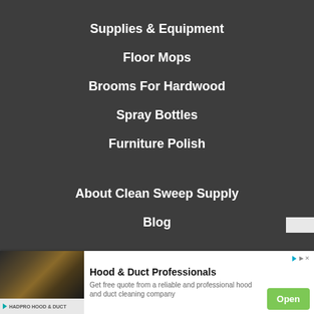Supplies & Equipment
Floor Mops
Brooms For Hardwood
Spray Bottles
Furniture Polish
About Clean Sweep Supply
Blog
[Figure (infographic): Advertisement banner for Hood & Duct Professionals by HADPRO HOOD & DUCT. Shows a dark image of a hood/duct, with text 'Hood & Duct Professionals', 'Get free quote from a reliable and professional hood and duct cleaning company', and an 'Open' button.]